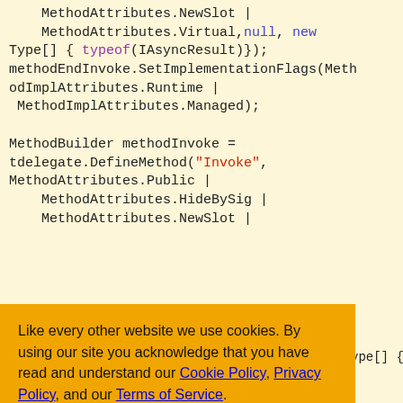MethodAttributes.NewSlot |
    MethodAttributes.Virtual,null, new
Type[] { typeof(IAsyncResult)});
methodEndInvoke.SetImplementationFlags(MethodImplAttributes.Runtime |
 MethodImplAttributes.Managed);

MethodBuilder methodInvoke =
tdelegate.DefineMethod("Invoke",
MethodAttributes.Public |
    MethodAttributes.HideBySig |
    MethodAttributes.NewSlot |
[Figure (other): Cookie consent overlay banner with orange background containing text about cookie policy, links to Cookie Policy, Privacy Policy, Terms of Service, Learn more link, and three buttons: Ask me later, Decline, Allow cookies]
you to try out
entBuilder class
o build your own
Wrapping up the Whole thing